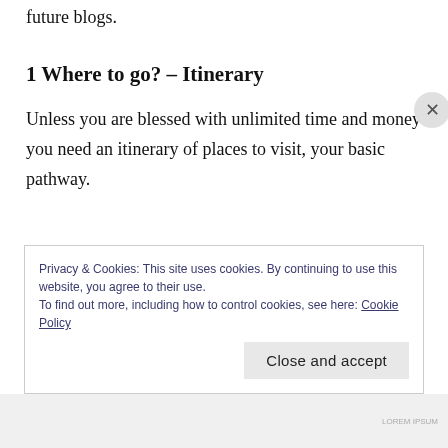future blogs.
1 Where to go? – Itinerary
Unless you are blessed with unlimited time and money you need an itinerary of places to visit, your basic pathway.
Privacy & Cookies: This site uses cookies. By continuing to use this website, you agree to their use.
To find out more, including how to control cookies, see here: Cookie Policy
Close and accept